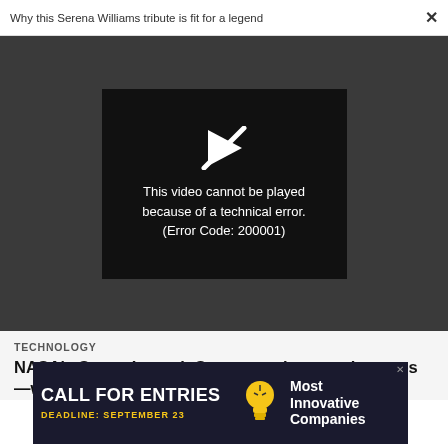Why this Serena Williams tribute is fit for a legend
[Figure (screenshot): Video player showing error message: This video cannot be played because of a technical error. (Error Code: 200001)]
TECHNOLOGY
NASA's Space Launch System—whenever it comes—will mark the end of an era for U.S. spaceflight
[Figure (infographic): Advertisement banner: CALL FOR ENTRIES — DEADLINE: SEPTEMBER 23 — Most Innovative Companies]